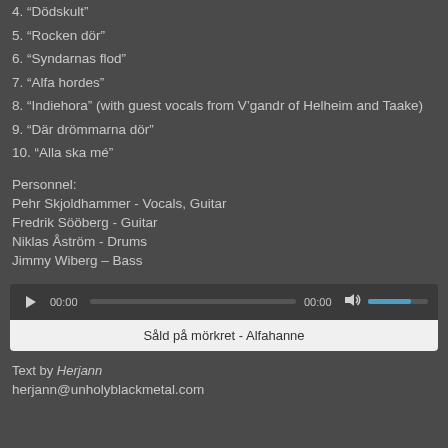4. “Dödskult”
5. “Rocken dör”
6. “Syndarnas flod”
7. “Alfa hordes”
8. “Indiehora” (with guest vocals from V’gandr of Helheim and Taake)
9. “Där drömmarna dör”
10. “Alla ska mé”
Personnel:
Pehr Skjoldhammer - Vocals, Guitar
Fredrik Sööberg - Guitar
Niklas Åström - Drums
Jimmy Wiberg – Bass
[Figure (screenshot): Audio player widget showing play button, time 00:00, progress bar, time 00:00, volume icon and volume bar. Title bar shows 'Såld på mörkret - Alfahanne']
Text by Herjann
herjann@unholyblackmetal.com